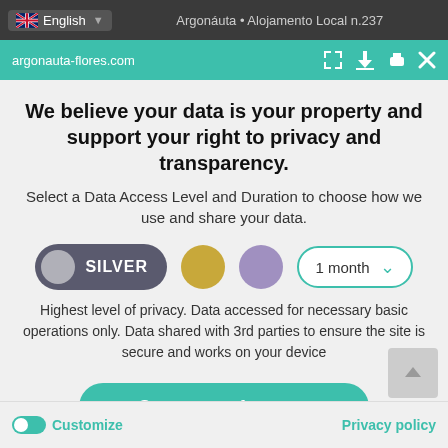English | Argonáuta • Alojamento Local n.237
argonauta-flores.com
We believe your data is your property and support your right to privacy and transparency.
Select a Data Access Level and Duration to choose how we use and share your data.
[Figure (other): Privacy level selector with SILVER toggle selected, gold dot, purple dot, and 1 month dropdown]
Highest level of privacy. Data accessed for necessary basic operations only. Data shared with 3rd parties to ensure the site is secure and works on your device
Save my preferences
Customize
Privacy policy